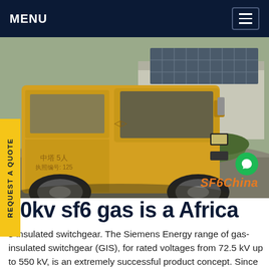MENU
[Figure (photo): Yellow Chinese utility truck parked at an industrial facility with solar panels visible in the background. SF6China watermark in bottom right.]
50kv sf6 gas is a Africa
s-insulated switchgear. The Siemens Energy range of gas-insulated switchgear (GIS), for rated voltages from 72.5 kV up to 550 kV, is an extremely successful product concept. Since its introduction